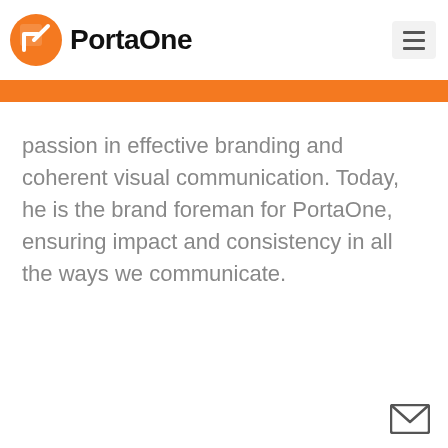PortaOne
passion in effective branding and coherent visual communication. Today, he is the brand foreman for PortaOne, ensuring impact and consistency in all the ways we communicate.
[Figure (logo): Email envelope icon in bottom-right corner]